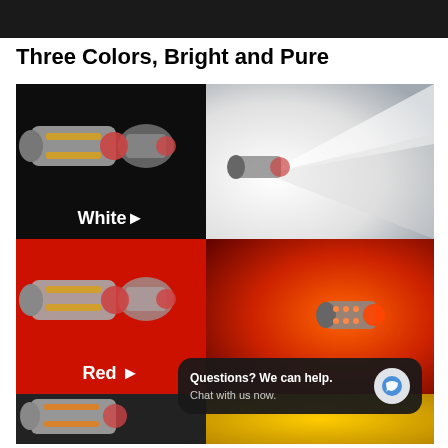Three Colors, Bright and Pure
[Figure (photo): Product photo grid showing LED car bulbs in three colors: White (top row, bulb on black background + white light beam photo), Red (middle row, bulb on red background + red/orange light beam photo), and Amber/Yellow (bottom row partial, bulb on dark background + amber background). A chat bubble overlay reads: Questions? We can help. Chat with us now.]